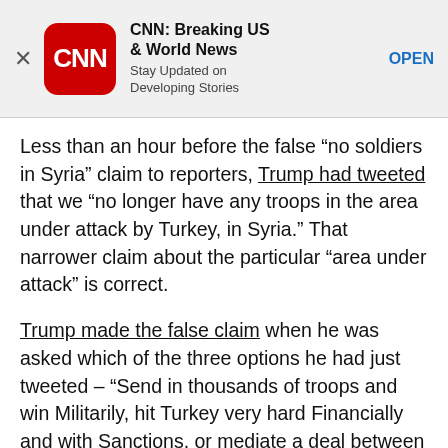[Figure (screenshot): CNN app advertisement banner with CNN logo, app name 'CNN: Breaking US & World News', tagline 'Stay Updated on Developing Stories', and an OPEN button]
Less than an hour before the false “no soldiers in Syria” claim to reporters, Trump had tweeted that we “no longer have any troops in the area under attack by Turkey, in Syria.” That narrower claim about the particular “area under attack” is correct.
Trump made the false claim when he was asked which of the three options he had just tweeted – “Send in thousands of troops and win Militarily, hit Turkey very hard Financially and with Sanctions, or mediate a deal between Turkey and the Kurds” – he thinks he will choose.
He said he hopes to be able to mediate a deal. He added later: “I don’t think the American people want